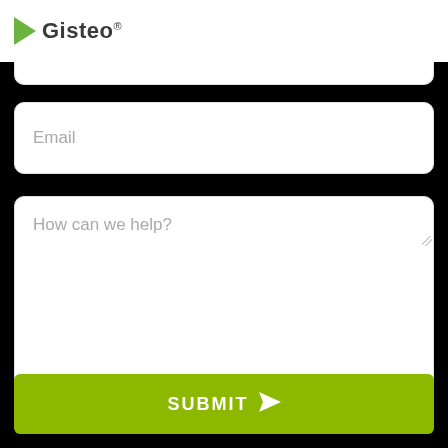[Figure (logo): Gisteo logo with green play button triangle and bold text 'Gisteo' with registered trademark symbol]
Email
How can we help?
SUBMIT